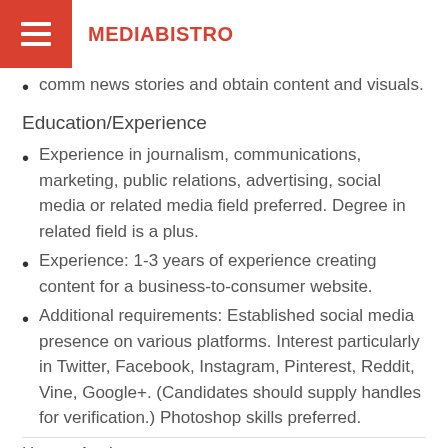MEDIABISTRO
comm news stories and obtain content and visuals.
Education/Experience
Experience in journalism, communications, marketing, public relations, advertising, social media or related media field preferred. Degree in related field is a plus.
Experience: 1-3 years of experience creating content for a business-to-consumer website.
Additional requirements: Established social media presence on various platforms. Interest particularly in Twitter, Facebook, Instagram, Pinterest, Reddit, Vine, Google+. (Candidates should supply handles for verification.) Photoshop skills preferred.
How to Apply